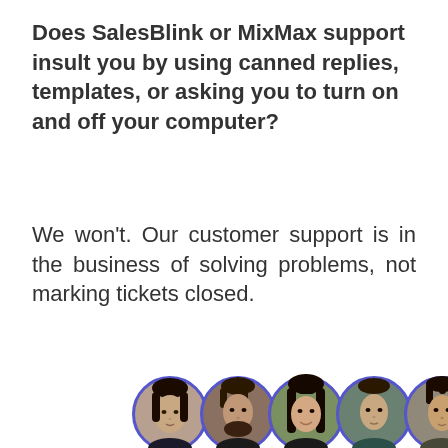Does SalesBlink or MixMax support insult you by using canned replies, templates, or asking you to turn on and off your computer?
We won't. Our customer support is in the business of solving problems, not marking tickets closed.
[Figure (photo): Five circular avatar photos of customer support team members, each with a blue/indigo circular border, arranged in a slightly overlapping horizontal row.]